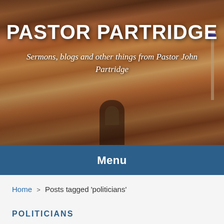[Figure (photo): Banner image showing a brick church building facade with text overlay. Title reads 'PASTOR PARTRIDGE' and subtitle reads 'Sermons, blogs and other things from Pastor John Partridge']
PASTOR PARTRIDGE
Sermons, blogs and other things from Pastor John Partridge
Menu
Home > Posts tagged 'politicians'
POLITICIANS
Whom Do You Trust?